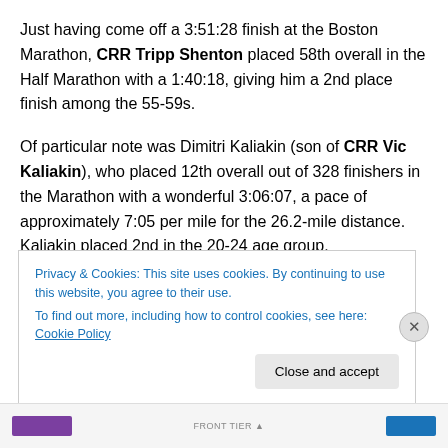Just having come off a 3:51:28 finish at the Boston Marathon, CRR Tripp Shenton placed 58th overall in the Half Marathon with a 1:40:18, giving him a 2nd place finish among the 55-59s.
Of particular note was Dimitri Kaliakin (son of CRR Vic Kaliakin), who placed 12th overall out of 328 finishers in the Marathon with a wonderful 3:06:07, a pace of approximately 7:05 per mile for the 26.2-mile distance. Kaliakin placed 2nd in the 20-24 age group.
Privacy & Cookies: This site uses cookies. By continuing to use this website, you agree to their use.
To find out more, including how to control cookies, see here: Cookie Policy
Close and accept